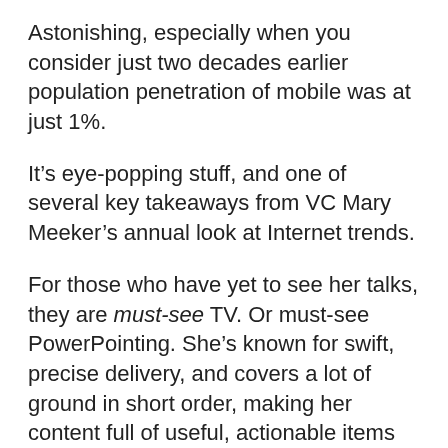Astonishing, especially when you consider just two decades earlier population penetration of mobile was at just 1%.
It's eye-popping stuff, and one of several key takeaways from VC Mary Meeker's annual look at Internet trends.
For those who have yet to see her talks, they are must-see TV. Or must-see PowerPointing. She's known for swift, precise delivery, and covers a lot of ground in short order, making her content full of useful, actionable items for both us industry observers, and also for those who market, build products and/or services.
This year's edition of Meeker's “Internet Trends”